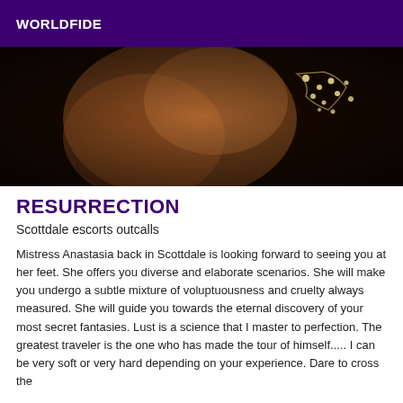WORLDFIDE
[Figure (photo): Dark artistic photo showing a person with jewelry/necklace in warm tones against dark background]
RESURRECTION
Scottdale escorts outcalls
Mistress Anastasia back in Scottdale is looking forward to seeing you at her feet. She offers you diverse and elaborate scenarios. She will make you undergo a subtle mixture of voluptuousness and cruelty always measured. She will guide you towards the eternal discovery of your most secret fantasies. Lust is a science that I master to perfection. The greatest traveler is the one who has made the tour of himself..... I can be very soft or very hard depending on your experience. Dare to cross the